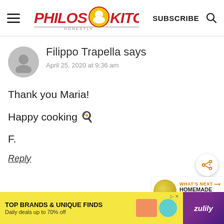Philos Kitchen — SUBSCRIBE
Filippo Trapella says
April 25, 2020 at 9:36 am
Thank you Maria!

Happy cooking 🍳

F.
Reply
WHAT'S NEXT → HOMEMADE TORTELLINI...
TOP BRANDS & UNIQUE FINDS
Daily deals up to 70% off